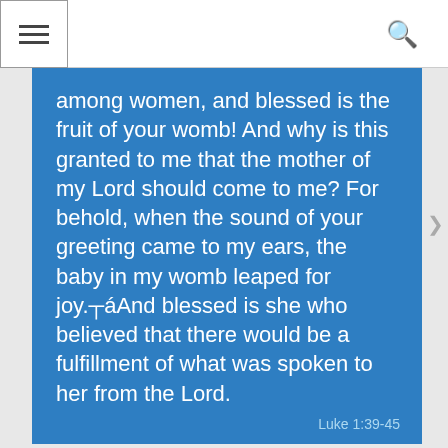among women, and blessed is the fruit of your womb! And why is this granted to me that the mother of my Lord should come to me? For behold, when the sound of your greeting came to my ears, the baby in my womb leaped for joy.┬áAnd blessed is she who believed that there would be a fulfillment of what was spoken to her from the Lord.
Luke 1:39-45